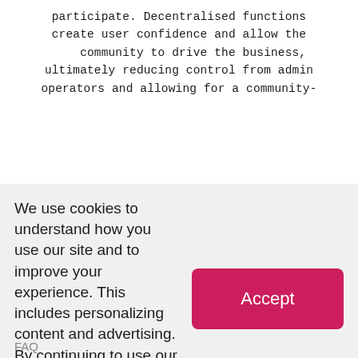participate. Decentralised functions create user confidence and allow the community to drive the business, ultimately reducing control from admin operators and allowing for a community-
We use cookies to understand how you use our site and to improve your experience. This includes personalizing content and advertising. By continuing to use our site, you accept our use of cookies, revised Privacy Policy, and Terms of Use. Learn more information.
Learn more
Accept
FAQ